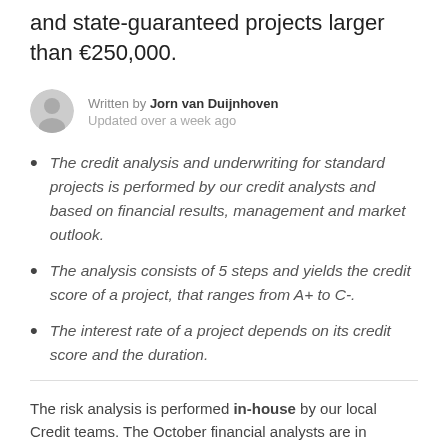and state-guaranteed projects larger than €250,000.
Written by Jorn van Duijnhoven
Updated over a week ago
The credit analysis and underwriting for standard projects is performed by our credit analysts and based on financial results, management and market outlook.
The analysis consists of 5 steps and yields the credit score of a project, that ranges from A+ to C-.
The interest rate of a project depends on its credit score and the duration.
The risk analysis is performed in-house by our local Credit teams. The October financial analysts are in